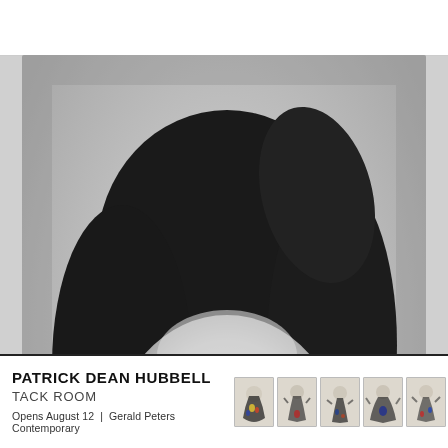[Figure (photo): Black and white portrait photograph of a woman with dark curly hair, wearing round glasses and a dark top, looking upward and slightly smiling against a light grey background]
Close
PATRICK DEAN HUBBELL
TACK ROOM
Opens August 12 | Gerald Peters Contemporary
[Figure (photo): Row of six small thumbnail images of abstract figurative paintings from the Tack Room exhibition, featuring colorful splatter-style figures on light backgrounds]